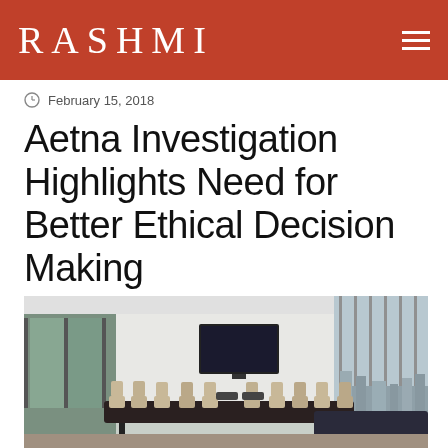RASHMI
February 15, 2018
Aetna Investigation Highlights Need for Better Ethical Decision Making
[Figure (photo): Modern conference room with a long dark table, beige chairs, a wall-mounted TV, floor-to-ceiling glass windows on the right showing a cityscape, and glass partition walls on the left.]